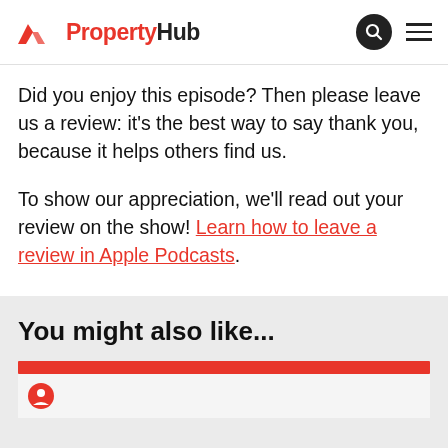PropertyHub
Did you enjoy this episode? Then please leave us a review: it’s the best way to say thank you, because it helps others find us.
To show our appreciation, we’ll read out your review on the show! Learn how to leave a review in Apple Podcasts.
You might also like...